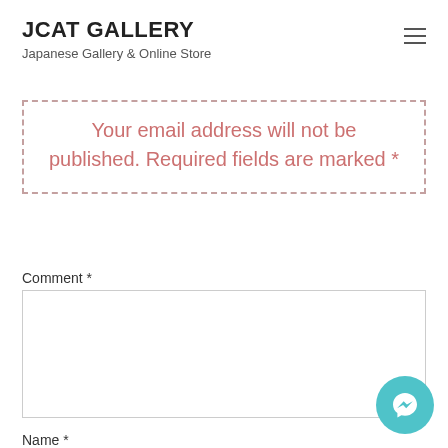JCAT GALLERY
Japanese Gallery & Online Store
Your email address will not be published. Required fields are marked *
Comment *
Name *